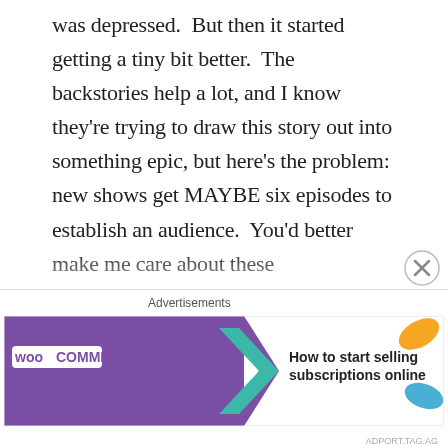was depressed.  But then it started getting a tiny bit better.  The backstories help a lot, and I know they're trying to draw this story out into something epic, but here's the problem:  new shows get MAYBE six episodes to establish an audience.  You'd better make me care about these motherfuckers stumbling through Northern Indiana right away.  It's finally happening, and I like that at least one character that you think is there for the long haul has been killed off.  Good. That adds concern for everyone except the fat neckbeard guy (how the hell are you still fat?!?!  You're growing you own food now and working your fingers to the bone to survive!!  I call this the Hurley from Lost syndrome).
[Figure (other): WooCommerce advertisement banner: 'How to start selling subscriptions online' with purple WooCommerce branding and teal arrow graphic on left, orange and blue leaf graphics on right.]